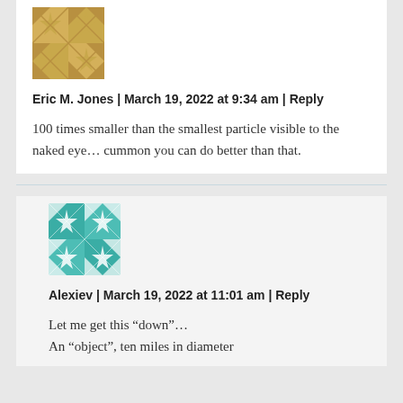[Figure (illustration): Golden/tan geometric quilt pattern avatar for Eric M. Jones]
Eric M. Jones | March 19, 2022 at 9:34 am | Reply
100 times smaller than the smallest particle visible to the naked eye... cummon you can do better than that.
[Figure (illustration): Teal/white geometric quilt pattern avatar for Alexiev]
Alexiev | March 19, 2022 at 11:01 am | Reply
Let me get this “down”...
An “object”, ten miles in diameter